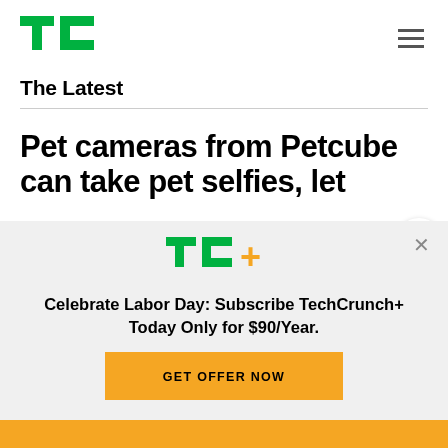TechCrunch logo and navigation
The Latest
Pet cameras from Petcube can take pet selfies, let
[Figure (logo): TechCrunch+ logo (TC+ in green and yellow)]
Celebrate Labor Day: Subscribe TechCrunch+ Today Only for $90/Year.
GET OFFER NOW